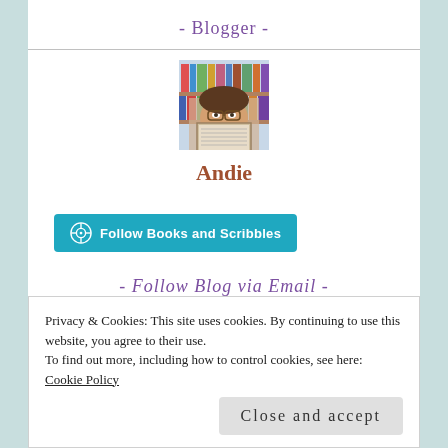- Blogger -
[Figure (photo): Profile photo of blogger Andie holding a book in front of bookshelves]
Andie
[Figure (other): Follow Books and Scribbles button with WordPress icon]
- Follow Blog via Email -
Privacy & Cookies: This site uses cookies. By continuing to use this website, you agree to their use.
To find out more, including how to control cookies, see here: Cookie Policy
Close and accept